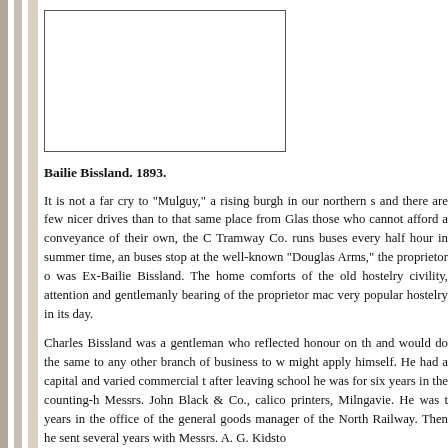[Figure (photo): Portrait photograph of Bailie Bissland, 1893, shown as a rectangular framed image placeholder.]
Bailie Bissland. 1893.
It is not a far cry to "Mulguy," a rising burgh in our northern s and there are few nicer drives than to that same place from Glas those who cannot afford a conveyance of their own, the C Tramway Co. runs buses every half hour in summer time, an buses stop at the well-known "Douglas Arms," the proprietor o was Ex-Bailie Bissland. The home comforts of the old hostelry civility, attention and gentlemanly bearing of the proprietor mac very popular hostelry in its day.
Charles Bissland was a gentleman who reflected honour on th and would do the same to any other branch of business to w might apply himself. He had a capital and varied commercial t after leaving school he was for six years in the counting-h Messrs. John Black & Co., calico printers, Milngavie. He was t years in the office of the general goods manager of the North Railway. Then he sent several years with Messrs. A. G. Kidsto